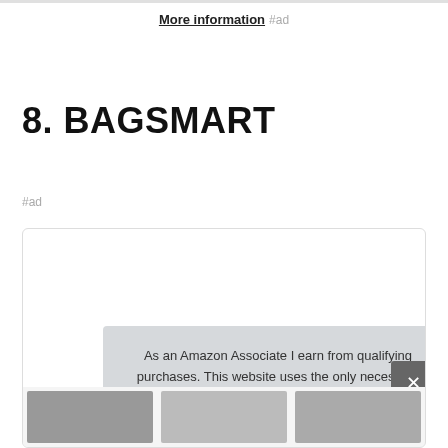More information #ad
8. BAGSMART
#ad
As an Amazon Associate I earn from qualifying purchases. This website uses the only necessary cookies to ensure you get the best experience on our website. More information